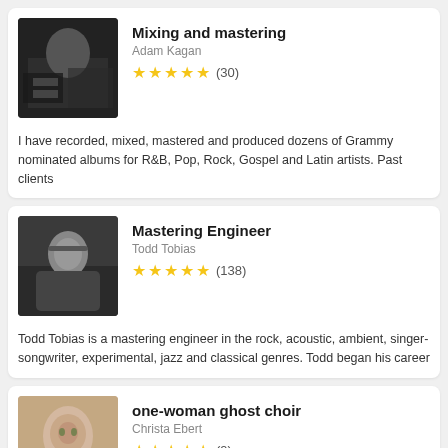Mixing and mastering
Adam Kagan
★★★★★ (30)
I have recorded, mixed, mastered and produced dozens of Grammy nominated albums for R&B, Pop, Rock, Gospel and Latin artists. Past clients
Mastering Engineer
Todd Tobias
★★★★★ (138)
Todd Tobias is a mastering engineer in the rock, acoustic, ambient, singer-songwriter, experimental, jazz and classical genres. Todd began his career
one-woman ghost choir
Christa Ebert
★★★★★ (9)